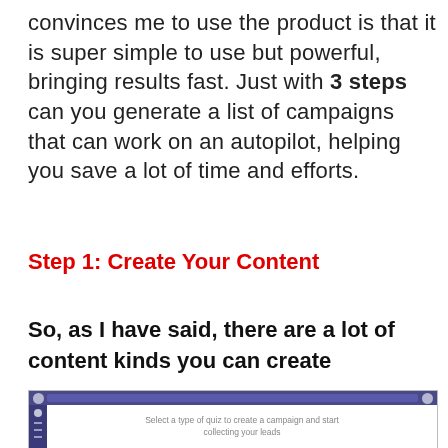convinces me to use the product is that it is super simple to use but powerful, bringing results fast. Just with 3 steps can you generate a list of campaigns that can work on an autopilot, helping you save a lot of time and efforts.
Step 1: Create Your Content
So, as I have said, there are a lot of content kinds you can create
[Figure (screenshot): Screenshot of a web application interface showing a sidebar with icons and a central message: 'Select a type of quiz to create a campaign and start collecting your leads']